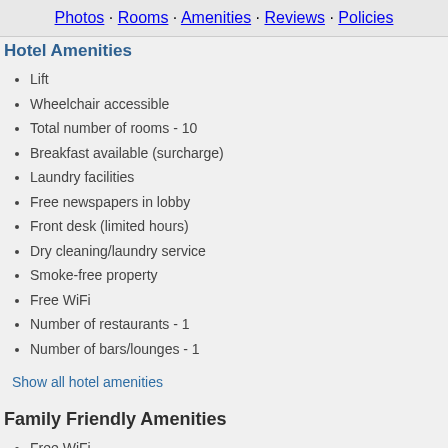Photos · Rooms · Amenities · Reviews · Policies
Hotel Amenities
Lift
Wheelchair accessible
Total number of rooms - 10
Breakfast available (surcharge)
Laundry facilities
Free newspapers in lobby
Front desk (limited hours)
Dry cleaning/laundry service
Smoke-free property
Free WiFi
Number of restaurants - 1
Number of bars/lounges - 1
Show all hotel amenities
Family Friendly Amenities
Free WiFi
Soundproofed rooms